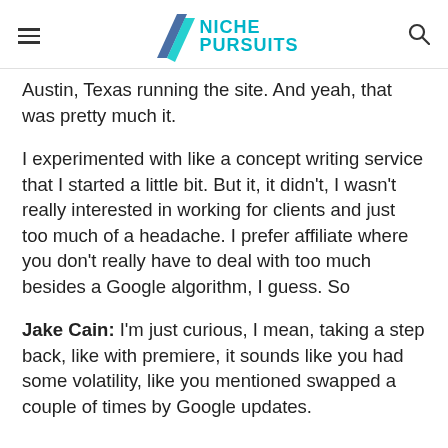NICHE PURSUITS
Austin, Texas running the site. And yeah, that was pretty much it.
I experimented with like a concept writing service that I started a little bit. But it, it didn't, I wasn't really interested in working for clients and just too much of a headache. I prefer affiliate where you don't really have to deal with too much besides a Google algorithm, I guess. So
Jake Cain: I'm just curious, I mean, taking a step back, like with premiere, it sounds like you had some volatility, like you mentioned swapped a couple of times by Google updates.